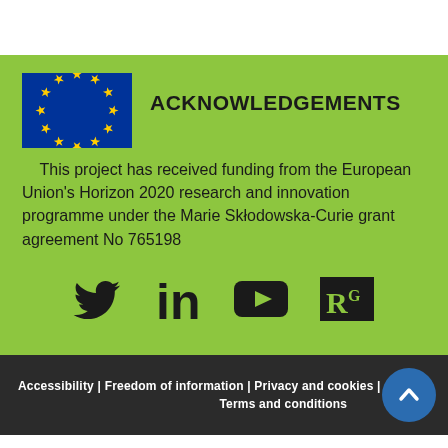ACKNOWLEDGEMENTS
This project has received funding from the European Union's Horizon 2020 research and innovation programme under the Marie Skłodowska-Curie grant agreement No 765198
[Figure (logo): Social media icons: Twitter, LinkedIn, YouTube, ResearchGate]
Accessibility | Freedom of information | Privacy and cookies | Terms and conditions